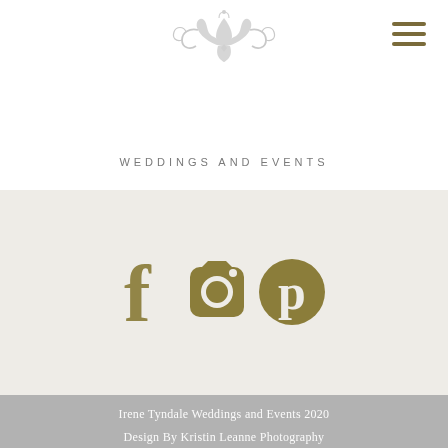[Figure (logo): Decorative ornamental logo mark for Irene Tyndale Weddings and Events — a grey fleur-de-lis style crest with scrollwork]
IRENE TYNDALE
WEDDINGS AND EVENTS
[Figure (illustration): Three social media icons in olive/gold color: Facebook (f), Instagram (camera), Pinterest (P circle)]
Irene Tyndale Weddings and Events 2020
Design By Kristin Leanne Photography
Customized by www.wandaisabel.com